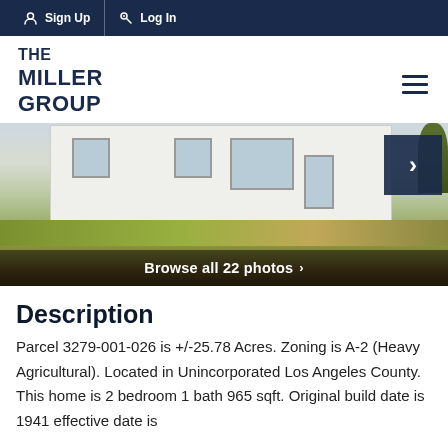Sign Up  Log In
THE MILLER GROUP
[Figure (photo): Exterior photo of a white single-story house with grass yard and patio area]
Browse all 22 photos
Description
Parcel 3279-001-026 is +/-25.78 Acres. Zoning is A-2 (Heavy Agricultural). Located in Unincorporated Los Angeles County. This home is 2 bedroom 1 bath 965 sqft. Original build date is 1941 effective date is